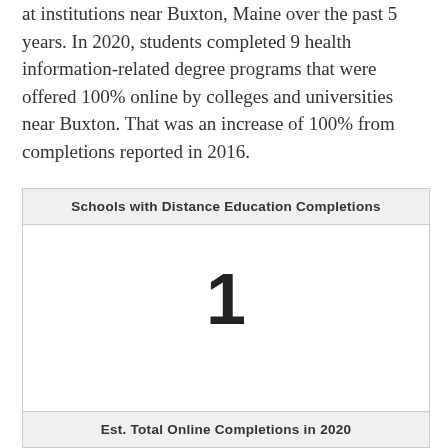at institutions near Buxton, Maine over the past 5 years. In 2020, students completed 9 health information-related degree programs that were offered 100% online by colleges and universities near Buxton. That was an increase of 100% from completions reported in 2016.
| Schools with Distance Education Completions | Est. Total Online Completions in 2020 |
| --- | --- |
| 1 |  |